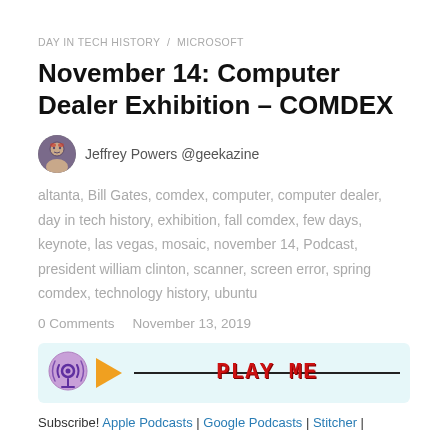DAY IN TECH HISTORY / MICROSOFT
November 14: Computer Dealer Exhibition – COMDEX
Jeffrey Powers @geekazine
altanta, Bill Gates, comdex, computer, computer dealer, day in tech history, exhibition, fall comdex, few days, keynote, las vegas, mosaic, november 14, Podcast, president william clinton, scanner, screen error, spring comdex, technology history, ubuntu
0 Comments   November 13, 2019
[Figure (other): Podcast player bar with play button and PLAY ME text overlay on a horizontal line, with a podcast icon on the left]
Subscribe! Apple Podcasts | Google Podcasts | Stitcher |